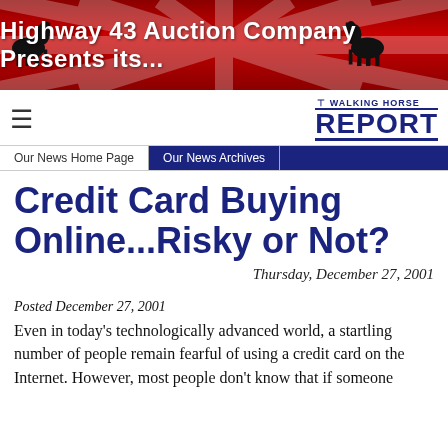[Figure (illustration): Red banner with burst/rays background showing 'Highway 43 Auction Company Presents its...' in white bold text, with black horse silhouette logos on both sides]
THE WALKING HORSE REPORT
Our News Home Page
Our News Archives
Credit Card Buying Online...Risky or Not?
Thursday, December 27, 2001
Posted December 27, 2001
Even in today's technologically advanced world, a startling number of people remain fearful of using a credit card on the Internet. However, most people don't know that if someone